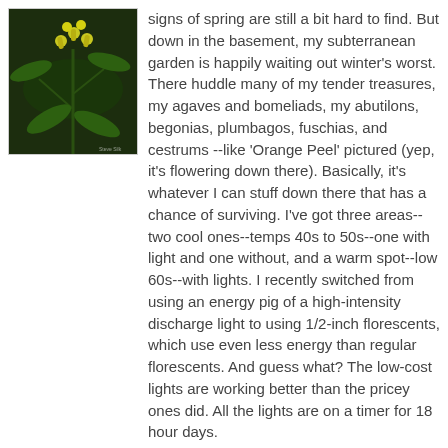[Figure (photo): Close-up photo of yellow-green flowering plant (Cestrum 'Orange Peel') with dark green background]
signs of spring are still a bit hard to find. But down in the basement, my subterranean garden is happily waiting out winter's worst. There huddle many of my tender treasures, my agaves and bomeliads, my abutilons, begonias, plumbagos, fuschias, and cestrums --like 'Orange Peel' pictured (yep, it's flowering down there). Basically, it's whatever I can stuff down there that has a chance of surviving. I've got three areas--two cool ones--temps 40s to 50s--one with light and one without, and a warm spot--low 60s--with lights. I recently switched from using an energy pig of a high-intensity discharge light to using 1/2-inch florescents, which use even less energy than regular florescents. And guess what? The low-cost lights are working better than the pricey ones did. All the lights are on a timer for 18 hour days.
[Figure (photo): Photo of various plants with long green leaves in a basement or indoor garden setting]